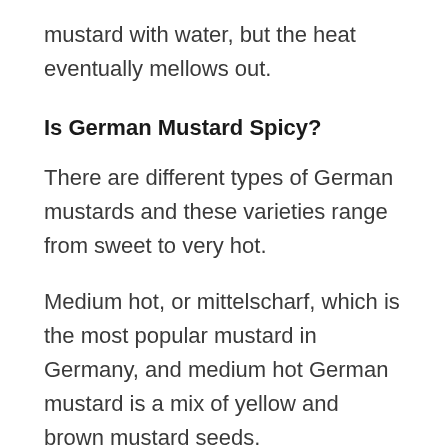mustard with water, but the heat eventually mellows out.
Is German Mustard Spicy?
There are different types of German mustards and these varieties range from sweet to very hot.
Medium hot, or mittelscharf, which is the most popular mustard in Germany, and medium hot German mustard is a mix of yellow and brown mustard seeds.